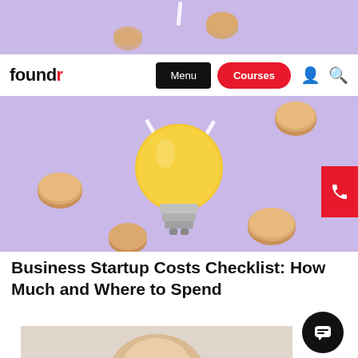[Figure (illustration): Partial view of a purple background hero image with gold coins and a yellow lightbulb at top]
foundr | Menu | Courses
[Figure (illustration): Purple background with a 3D yellow lightbulb surrounded by floating gold coins, with white light ray dashes]
Business Startup Costs Checklist: How Much and Where to Spend
[Figure (photo): Partial photo of a blonde woman, bottom of page]